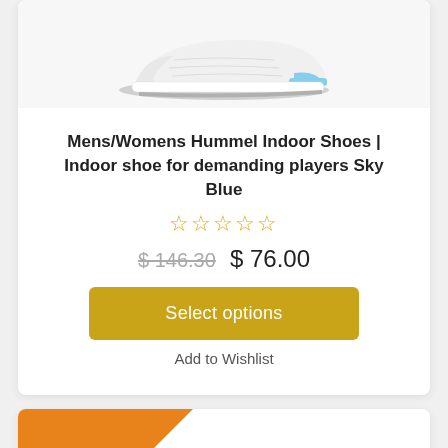[Figure (photo): White and sky blue Hummel indoor shoe viewed from the side/bottom, shown partially cropped at top of card]
Mens/Womens Hummel Indoor Shoes | Indoor shoe for demanding players Sky Blue
☆☆☆☆☆ (star rating, empty stars in gold/orange)
$ 146.30  $ 76.00 (strikethrough old price and new price)
Select options
Add to Wishlist
[Figure (other): Orange SALE ribbon badge in the top-left corner of a second product card below]